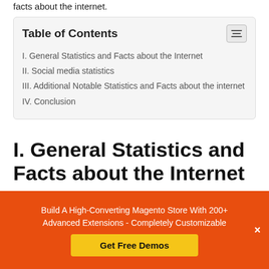facts about the internet.
| Table of Contents |
| --- |
| I. General Statistics and Facts about the Internet |
| II. Social media statistics |
| III. Additional Notable Statistics and Facts about the internet |
| IV. Conclusion |
I. General Statistics and Facts about the Internet
The next step in the evolution of human knowledge is the internet. A modern-day library, the internet houses far more
Build A High-Converting Magento Store With 200+ Advanced Extensions - Completely Customizable
Get Free Demos